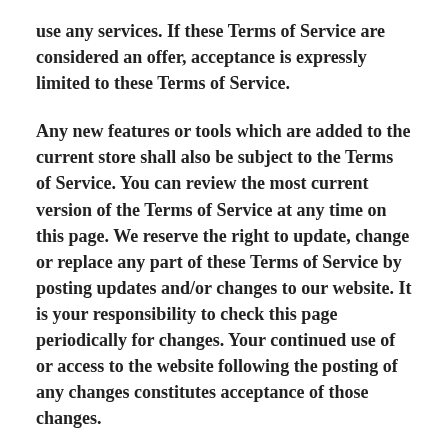use any services. If these Terms of Service are considered an offer, acceptance is expressly limited to these Terms of Service.
Any new features or tools which are added to the current store shall also be subject to the Terms of Service. You can review the most current version of the Terms of Service at any time on this page. We reserve the right to update, change or replace any part of these Terms of Service by posting updates and/or changes to our website. It is your responsibility to check this page periodically for changes. Your continued use of or access to the website following the posting of any changes constitutes acceptance of those changes.
Our store is hosted on Shopify Inc. They provide us with the online e-commerce platform that allows us to sell our products and services to you.